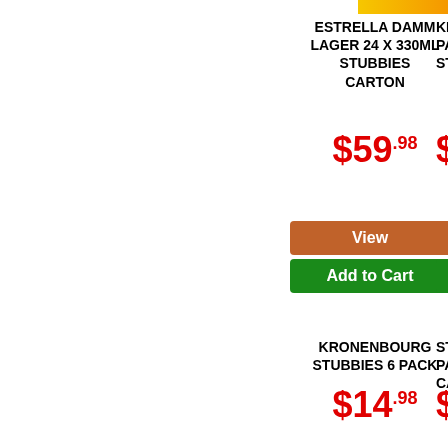ESTRELLA DAMM LAGER 24 x 330ML STUBBIES CARTON
$59.98
View
Add to Cart
KINGFISH PACK 33... STUBB...
$17...
View
Add to
KRONENBOURG STUBBIES 6 PACK
$14.98
STELLA AR... PACK X 5... CAN...
$14...